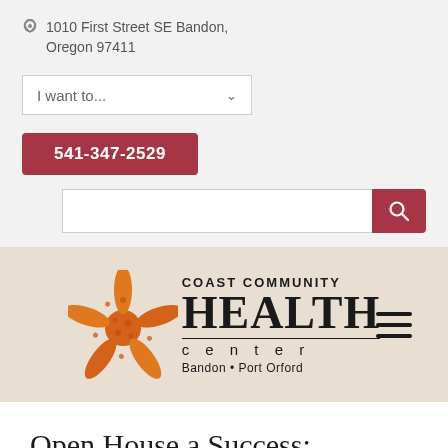1010 First Street SE Bandon, Oregon 97411
[Figure (screenshot): Dropdown selector with text 'I want to...' and a chevron arrow]
541-347-2529
[Figure (screenshot): Search input field with red search button icon]
[Figure (logo): Coast Community Health Center logo with orange starfish illustration, text reading 'COAST COMMUNITY HEALTH center Bandon • Port Orford' and hamburger menu icon]
Open House a Success: